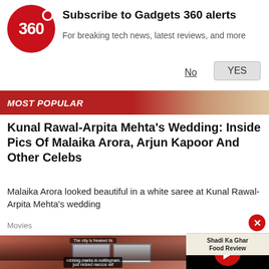[Figure (screenshot): Gadgets 360 logo - red circle with '360' text and red dot]
Subscribe to Gadgets 360 alerts
For breaking tech news, latest reviews, and more
No
YES
MOST POPULAR
Kunal Rawal-Arpita Mehta's Wedding: Inside Pics Of Malaika Arora, Arjun Kapoor And Other Celebs
Malaika Arora looked beautiful in a white saree at Kunal Rawal-Arpita Mehta's wedding
Movies
[Figure (photo): Crowd photo with overlay text: 'The city is freaked its' and caption 'robbing marks in nottingham just nicked naccos wif']
[Figure (screenshot): Video player with black background and red play button circle]
[Figure (screenshot): Thumbnail for 'Shadi Ka Ghar Food Review' video with food image]